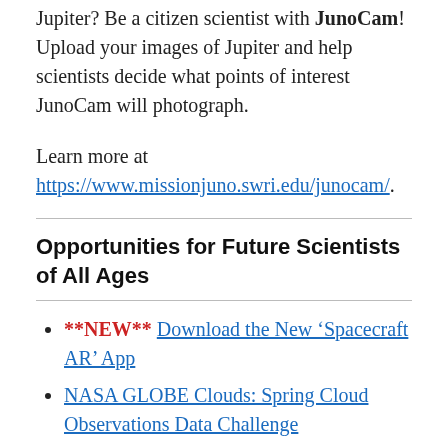Jupiter? Be a citizen scientist with JunoCam! Upload your images of Jupiter and help scientists decide what points of interest JunoCam will photograph.
Learn more at https://www.missionjuno.swri.edu/junocam/.
Opportunities for Future Scientists of All Ages
**NEW** Download the New ‘Spacecraft AR’ App
NASA GLOBE Clouds: Spring Cloud Observations Data Challenge